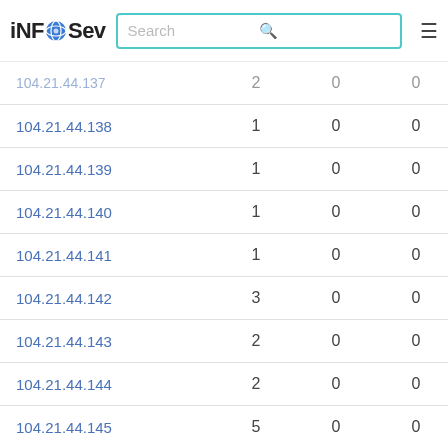iNFOSev — Search bar — Navigation menu
| IP | Col2 | Col3 | Col4 |
| --- | --- | --- | --- |
| 104.21.44.138 | 1 | 0 | 0 |
| 104.21.44.139 | 1 | 0 | 0 |
| 104.21.44.140 | 1 | 0 | 0 |
| 104.21.44.141 | 1 | 0 | 0 |
| 104.21.44.142 | 3 | 0 | 0 |
| 104.21.44.143 | 2 | 0 | 0 |
| 104.21.44.144 | 2 | 0 | 0 |
| 104.21.44.145 | 5 | 0 | 0 |
| 104.21.44.146 | 4 | 0 | 0 |